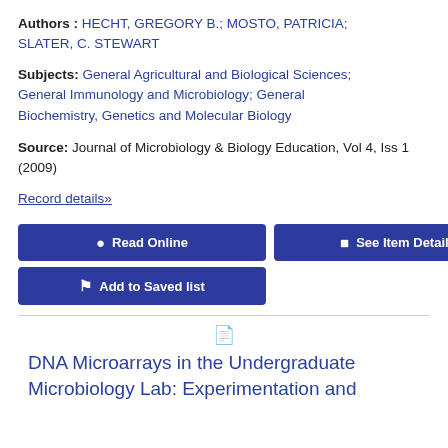Authors : HECHT, GREGORY B.; MOSTO, PATRICIA; SLATER, C. STEWART
Subjects: General Agricultural and Biological Sciences; General Immunology and Microbiology; General Biochemistry, Genetics and Molecular Biology
Source: Journal of Microbiology & Biology Education, Vol 4, Iss 1 (2009)
Record details»
Read Online
See Item Details
Add to Saved list
DNA Microarrays in the Undergraduate Microbiology Lab: Experimentation and